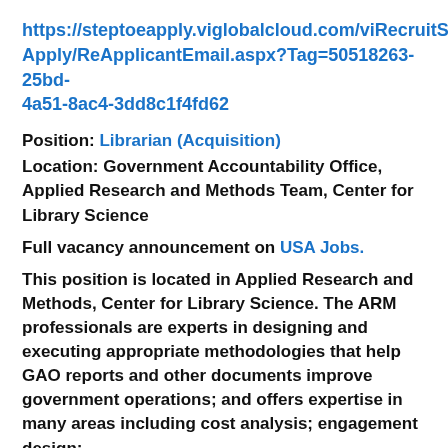https://steptoeapply.viglobalcloud.com/viRecruitSelfApply/ReApplicantEmail.aspx?Tag=50518263-25bd-4a51-8ac4-3dd8c1f4fd62
Position: Librarian (Acquisition)
Location: Government Accountability Office, Applied Research and Methods Team, Center for Library Science
Full vacancy announcement on USA Jobs.
This position is located in Applied Research and Methods, Center for Library Science. The ARM professionals are experts in designing and executing appropriate methodologies that help GAO reports and other documents improve government operations; and offers expertise in many areas including cost analysis; engagement design;